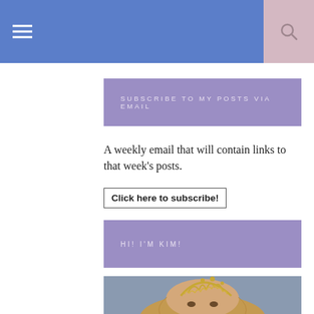≡  [search icon]
SUBSCRIBE TO MY POSTS VIA EMAIL
A weekly email that will contain links to that week's posts.
Click here to subscribe!
HI! I'M KIM!
[Figure (photo): Woman wearing a gold tiara crown, with long blonde hair, photographed indoors]